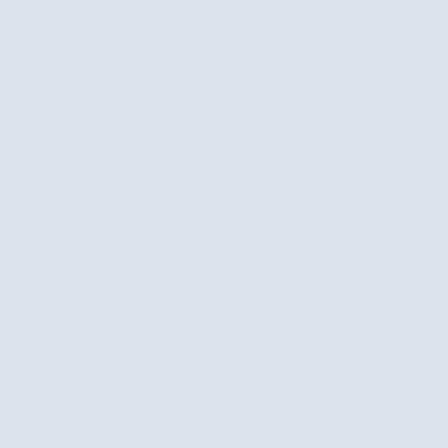which invokes a Pavlovian response for three to five months. The guys at FM waited for the campaigns to hit their stride, and then offered it to me to sell out, as it were. I have nothing against bringing in a substantial amount of cash, or it could end up being a big waste of time, but i
It's been five months, so it's time to see how it's been use of time and space. FM didn't sell a single ad for this problem, so caveat emptor, bloggers) and ads should have been, that was more trouble than it was worth month to deal with Bill O'Reilly and John Mc tried to take a hands off approach to advertising my blog is sort of an extension of me, what I s agnostic advertising) just isn't right for me pe
I spoke with some people at FM, and while th possibly make it worth my while maybe if I w real hard for a pony, I decided over the weeke to be on enjoying writing in my blog (the who ads are running and earning and not being lam on the table, a cost/benefit analysis says it's no work.
I'm very happy with the RSS advertising that actually returning a meaningful amount of col for the foreseeable future, there won't be any a
Posted on May 29, 2007 at 10:57 AM in WWdN in Ex